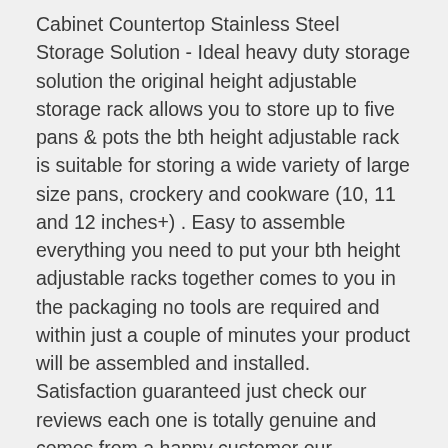Cabinet Countertop Stainless Steel Storage Solution - Ideal heavy duty storage solution the original height adjustable storage rack allows you to store up to five pans & pots the bth height adjustable rack is suitable for storing a wide variety of large size pans, crockery and cookware (10, 11 and 12 inches+) . Easy to assemble everything you need to put your bth height adjustable racks together comes to you in the packaging no tools are required and within just a couple of minutes your product will be assembled and installed. Satisfaction guaranteed just check our reviews each one is totally genuine and comes from a happy customer our customer satisfaction matters greatly to us and we're proud of the recommendations our loyal customers make. Durable construction the bth height adjustable racks are made from stainless steel to ensure they're sturdy, protected from rust and easy to keep clean this is a stylish storage solution that will not let you down in the long run. Fully adjustable our innovative patent pending bth shelves are height adjustable allowing you to configure your pan storage